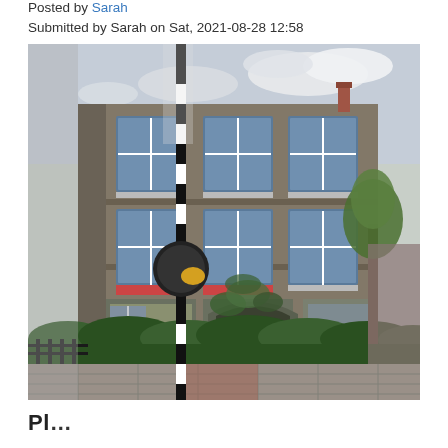Posted by Sarah
Submitted by Sarah on Sat, 2021-08-28 12:58
[Figure (photo): Street-level photo of a multi-storey Victorian terraced house built in dark grey brick with white-framed sash windows, arched doorways covered in ivy, a large neatly trimmed hedge in front, and a black-and-white striped traffic bollard with a yellow reflector in the foreground. Trees and a cloudy sky are visible in the background.]
Pl...